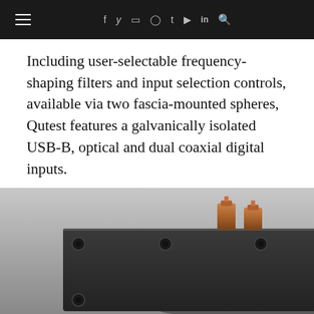≡  f  𝕩  ◻  ⊕  t  ▶  in  🔍
Including user-selectable frequency-shaping filters and input selection controls, available via two fascia-mounted spheres, Qutest features a galvanically isolated USB-B, optical and dual coaxial digital inputs.
[Figure (photo): Close-up photograph of the rear panel of the Chord Electronics Qutest DAC, showing a dark anodized aluminum chassis with copper/rose-gold colored RCA and BNC connectors on top, and multiple circular screw holes along the top and sides.]
By using this website you agree to accept our Privacy Policy and Terms & Conditions
Share This